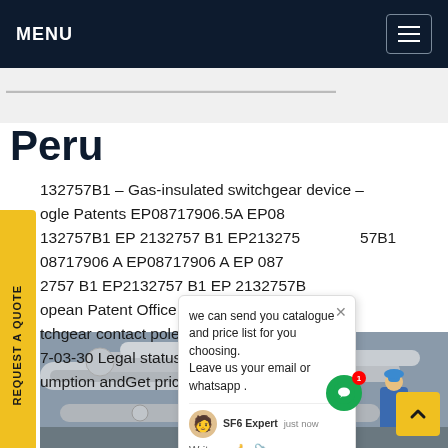MENU
Peru
132757B1 - Gas-insulated switchgear device - Google Patents EP08717906.5A EP08 132757B1 EP 2132757 B1 EP213275 57B1 08717906 A EP08717906 A EP 087 2757 B1 EP2132757 B1 EP 2132757B P ropean Patent Office Prior ar g tchgear contact pole supporting ite 7-03-30 Legal status (The legal status is an umption andGet price
[Figure (photo): Industrial gas-insulated switchgear equipment with pipes and a worker in blue uniform and helmet]
we can send you catalogue and price list for you choosing. Leave us your email or whatsapp . SF6 Expert just now Write a